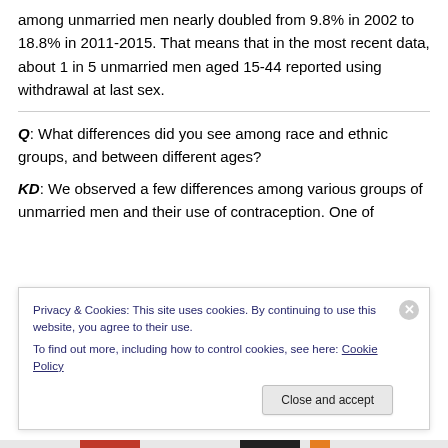among unmarried men nearly doubled from 9.8% in 2002 to 18.8% in 2011-2015. That means that in the most recent data, about 1 in 5 unmarried men aged 15-44 reported using withdrawal at last sex.
Q: What differences did you see among race and ethnic groups, and between different ages?
KD: We observed a few differences among various groups of unmarried men and their use of contraception. One of
Privacy & Cookies: This site uses cookies. By continuing to use this website, you agree to their use. To find out more, including how to control cookies, see here: Cookie Policy